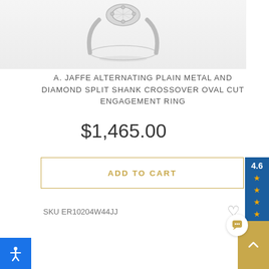[Figure (photo): A. Jaffe engagement ring product photo showing a silver/white gold ring with oval cut diamond and split shank, cropped at top]
A. JAFFE ALTERNATING PLAIN METAL AND DIAMOND SPLIT SHANK CROSSOVER OVAL CUT ENGAGEMENT RING
$1,465.00
ADD TO CART
SKU ER10204W44JJ